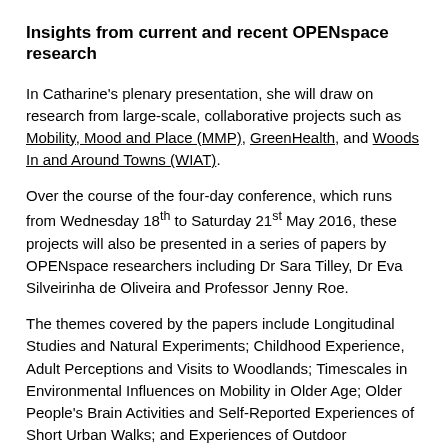Insights from current and recent OPENspace research
In Catharine's plenary presentation, she will draw on research from large-scale, collaborative projects such as Mobility, Mood and Place (MMP), GreenHealth, and Woods In and Around Towns (WIAT).
Over the course of the four-day conference, which runs from Wednesday 18th to Saturday 21st May 2016, these projects will also be presented in a series of papers by OPENspace researchers including Dr Sara Tilley, Dr Eva Silveirinha de Oliveira and Professor Jenny Roe.
The themes covered by the papers include Longitudinal Studies and Natural Experiments; Childhood Experience, Adult Perceptions and Visits to Woodlands; Timescales in Environmental Influences on Mobility in Older Age; Older People's Brain Activities and Self-Reported Experiences of Short Urban Walks; and Experiences of Outdoor